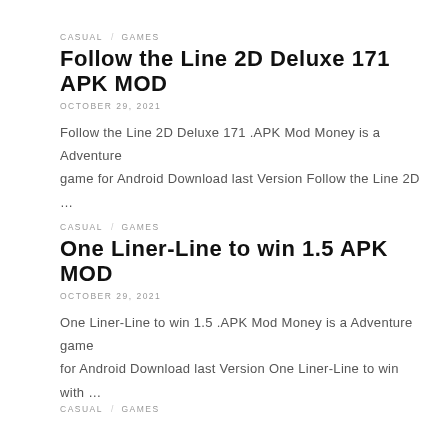CASUAL   GAMES
Follow the Line 2D Deluxe 171 APK MOD
OCTOBER 29, 2021
Follow the Line 2D Deluxe 171 .APK Mod Money is a Adventure game for Android Download last Version Follow the Line 2D …
CASUAL   GAMES
One Liner-Line to win 1.5 APK MOD
OCTOBER 29, 2021
One Liner-Line to win 1.5 .APK Mod Money is a Adventure game for Android Download last Version One Liner-Line to win with …
CASUAL   GAMES